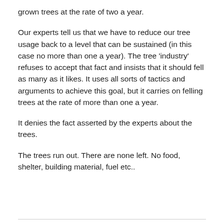grown trees at the rate of two a year.
Our experts tell us that we have to reduce our tree usage back to a level that can be sustained (in this case no more than one a year). The tree ‘industry’ refuses to accept that fact and insists that it should fell as many as it likes. It uses all sorts of tactics and arguments to achieve this goal, but it carries on felling trees at the rate of more than one a year.
It denies the fact asserted by the experts about the trees.
The trees run out. There are none left. No food, shelter, building material, fuel etc..